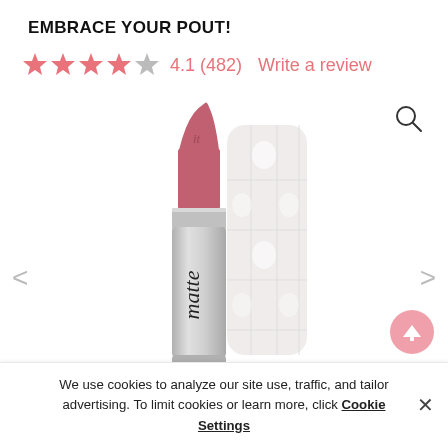EMBRACE YOUR POUT!
★★★★☆ 4.1 (482)  Write a review
[Figure (photo): IT Cosmetics matte lipstick product photo showing open lipstick bullet in a rosy pink-red shade with silver casing, and the faceted white cap behind it]
We use cookies to analyze our site use, traffic, and tailor advertising. To limit cookies or learn more, click Cookie Settings